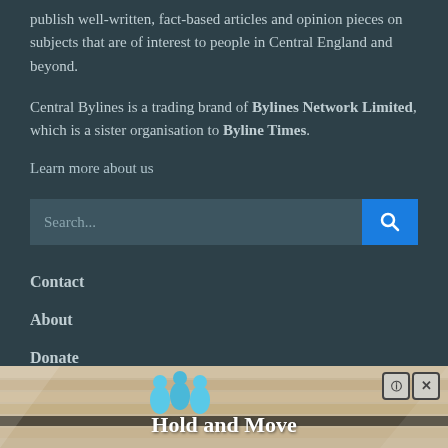publish well-written, fact-based articles and opinion pieces on subjects that are of interest to people in Central England and beyond.
Central Bylines is a trading brand of Bylines Network Limited, which is a sister organisation to Byline Times.
Learn more about us
[Figure (other): Search bar with blue search button and magnifying glass icon]
Contact
About
Donate
[Figure (infographic): Advertisement banner showing 'Hold and Move' game with cartoon figures on a sandy background, with close/info buttons in top right corner]